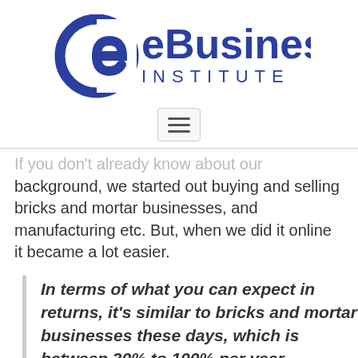[Figure (logo): eBusiness Institute logo with stylized 'e' icon and text 'eBusiness INSTITUTE' in blue]
[Figure (other): Hamburger menu button (three horizontal lines) in a rounded rectangle]
If you don't already know about our background, we started out buying and selling bricks and mortar businesses, and manufacturing etc. But, when we did it online it became a lot easier.
In terms of what you can expect in returns, it's similar to bricks and mortar businesses these days, which is between 30% to 100% per year.